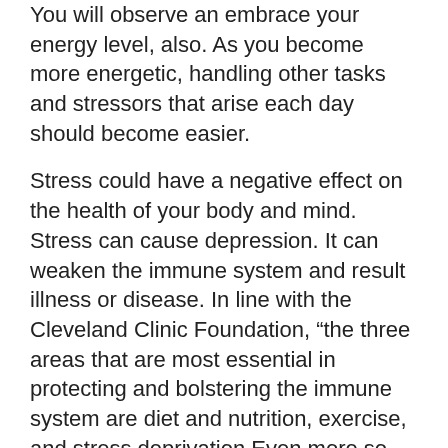You will observe an embrace your energy level, also. As you become more energetic, handling other tasks and stressors that arise each day should become easier.
Stress could have a negative effect on the health of your body and mind. Stress can cause depression. It can weaken the immune system and result illness or disease. In line with the Cleveland Clinic Foundation, “the three areas that are most essential in protecting and bolstering the immune system are diet and nutrition, exercise, and stress deprivation.Even more so than nutrition, exercise has the capacity to protect effectively enhance the immune respond. Exercise can also improve your mental wellness.”
Tips include things like Exercise into Everyday Life
You seem to be on appropriate from the second you